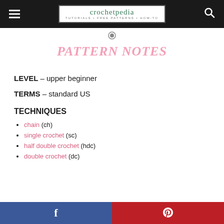crochetpedia — TUTORIALS • FREE PATTERNS • HOW-TO
PATTERN NOTES
LEVEL – upper beginner
TERMS – standard US
TECHNIQUES
chain (ch)
single crochet (sc)
half double crochet (hdc)
double crochet (dc)
Facebook | Pinterest